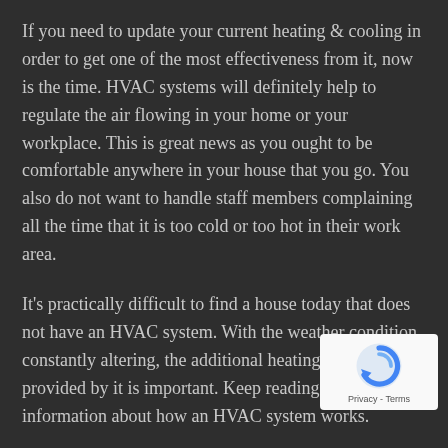If you need to update your current heating & cooling in order to get one of the most effectiveness from it, now is the time. HVAC systems will definitely help to regulate the air flowing in your home or your workplace. This is great news as you ought to be comfortable anywhere in your house that you go. You also do not want to handle staff members complaining all the time that it is too cold or too hot in their work area.
It’s practically difficult to find a house today that does not have an HVAC system. With the weather condition constantly altering, the additional heating or cooling provided by it is important. Keep reading to get more information about how an HVAC system works.
An HVAC system is produced to use air ducts to
[Figure (other): Google reCAPTCHA badge in bottom right corner showing a blue circular arrow logo and Privacy - Terms text]